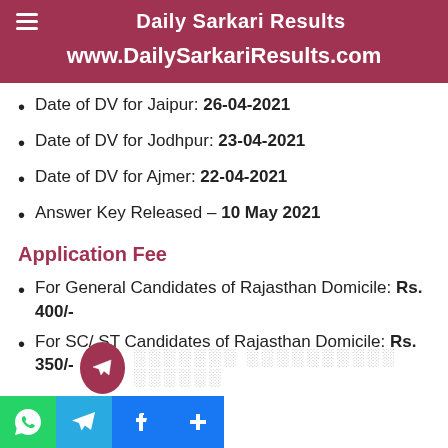Daily Sarkari Results
www.DailySarkariResults.com
Date of DV for Jaipur: 26-04-2021
Date of DV for Jodhpur: 23-04-2021
Date of DV for Ajmer: 22-04-2021
Answer Key Released – 10 May 2021
Application Fee
For General Candidates of Rajasthan Domicile: Rs. 400/-
For SC/ ST Candidates of Rajasthan Domicile: Rs. 350/-